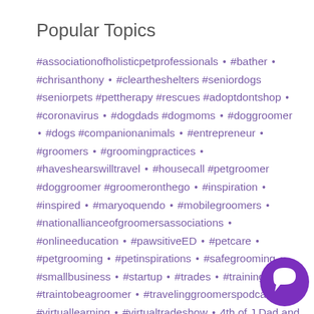Popular Topics
#associationofholisticpetprofessionals • #bather • #chrisanthony • #cleartheshelters #seniordogs #seniorpets #pettherapy #rescues #adoptdontshop • #coronavirus • #dogdads #dogmoms • #doggroomer • #dogs #companionanimals • #entrepreneur • #groomers • #groomingpractices • #haveshearswilltravel • #housecall #petgroomer #doggroomer #groomeronthego • #inspiration • #inspired • #maryoquendo • #mobilegroomers • #nationallianceofgroomersassociations • #onlineeducation • #pawsitiveED • #petcare • #petgrooming • #petinspirations • #safegrooming • #smallbusiness • #startup • #trades • #training • #traintobeagroomer • #travelinggroomerspodcast • #virtuallearning • #virtualtradeshow • 4th of J… Dad and His Dog • a pet tribute • Accountabili… Partner • activities for dogs • Activities to do with a pet • Afghan Hound • after pet loss • agility training